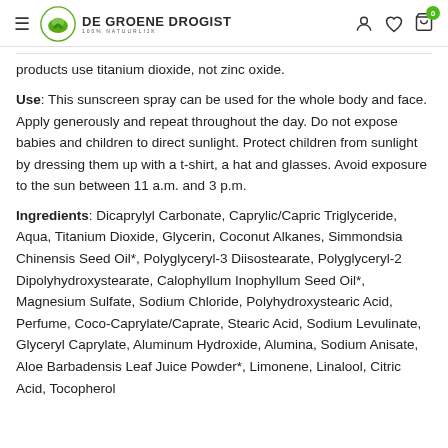DE GROENE DROGIST
products use titanium dioxide, not zinc oxide.
Use: This sunscreen spray can be used for the whole body and face. Apply generously and repeat throughout the day. Do not expose babies and children to direct sunlight. Protect children from sunlight by dressing them up with a t-shirt, a hat and glasses. Avoid exposure to the sun between 11 a.m. and 3 p.m.
Ingredients: Dicaprylyl Carbonate, Caprylic/Capric Triglyceride, Aqua, Titanium Dioxide, Glycerin, Coconut Alkanes, Simmondsia Chinensis Seed Oil*, Polyglyceryl-3 Diisostearate, Polyglyceryl-2 Dipolyhydroxystearate, Calophyllum Inophyllum Seed Oil*, Magnesium Sulfate, Sodium Chloride, Polyhydroxystearic Acid, Perfume, Coco-Caprylate/Caprate, Stearic Acid, Sodium Levulinate, Glyceryl Caprylate, Aluminum Hydroxide, Alumina, Sodium Anisate, Aloe Barbadensis Leaf Juice Powder*, Limonene, Linalool, Citric Acid, Tocopherol